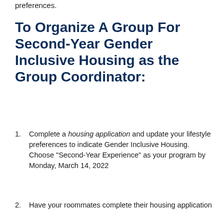preferences.
To Organize A Group For Second-Year Gender Inclusive Housing as the Group Coordinator:
Complete a housing application and update your lifestyle preferences to indicate Gender Inclusive Housing. Choose "Second-Year Experience" as your program by Monday, March 14, 2022
Have your roommates complete their housing application